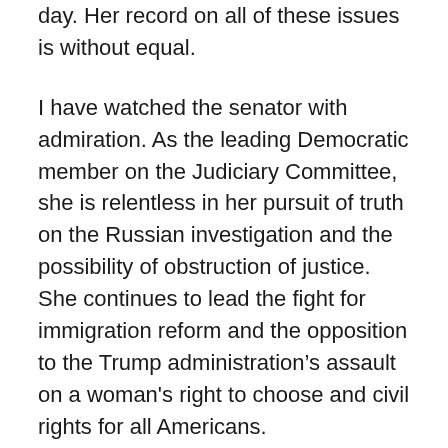day. Her record on all of these issues is without equal.
I have watched the senator with admiration. As the leading Democratic member on the Judiciary Committee, she is relentless in her pursuit of truth on the Russian investigation and the possibility of obstruction of justice. She continues to lead the fight for immigration reform and the opposition to the Trump administration’s assault on a woman's right to choose and civil rights for all Americans.
Her leadership on the Intelligence Committee continues to demonstrate that when it comes to the critical work of protecting our nation’s security, she is an undaunted guardian of both our security and our liberties.
Californians are fortunate that Dianne Feinstein is an influential and respected leader on the Senate Appropriations Committee where she battles every day to